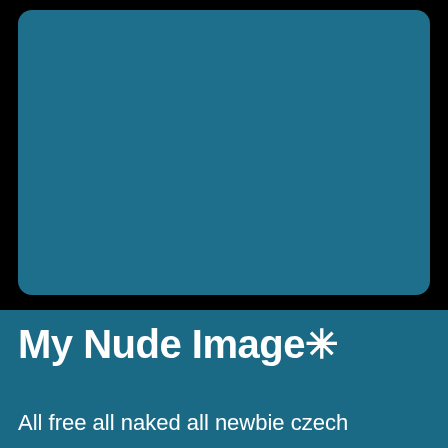[Figure (other): Large teal/blue-grey rectangular area with rounded corners on black background, serving as an image placeholder]
My Nude Image✳
All free all naked all newbie czech